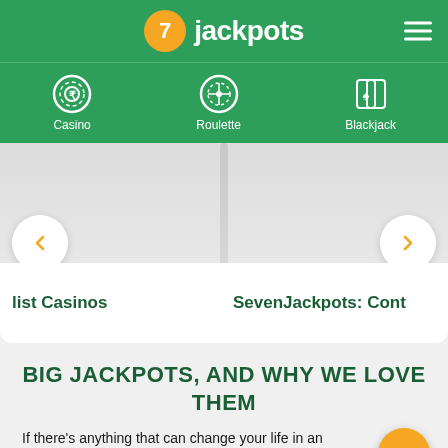7 jackpots
[Figure (screenshot): Navigation bar with Casino, Roulette, Blackjack icons on green background]
[Figure (screenshot): Carousel with left and right arrow buttons, two card panels showing 'list Casinos' and 'SevenJackpots: Cont']
BIG JACKPOTS, AND WHY WE LOVE THEM
If there's anything that can change your life in an instant, then it's a jackpot. Jackpots are unique prize